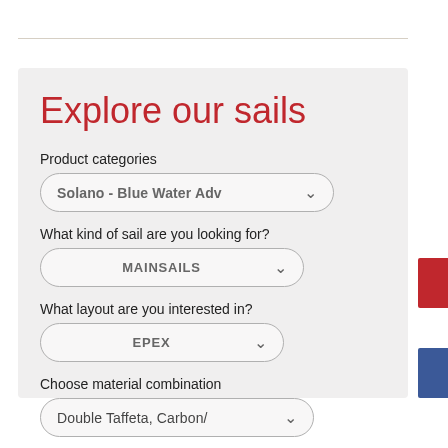Explore our sails
Product categories
Solano - Blue Water Adv
What kind of sail are you looking for?
MAINSAILS
What layout are you interested in?
EPEX
Choose material combination
Double Taffeta, Carbon/